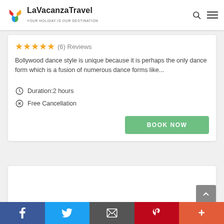[Figure (logo): LaVacanzaTravel logo with colorful arrow/leaf icon and text 'LaVacanzaTravel - YOUR HOLIDAY IS OUR DESTINATION']
★★★★★ (6) Reviews
Bollywood dance style is unique because it is perhaps the only dance form which is a fusion of numerous dance forms like...
Duration:2 hours
Free Cancellation
BOOK NOW
[Figure (screenshot): Empty white card area below main card]
f  [Twitter]  [Email]  p  +